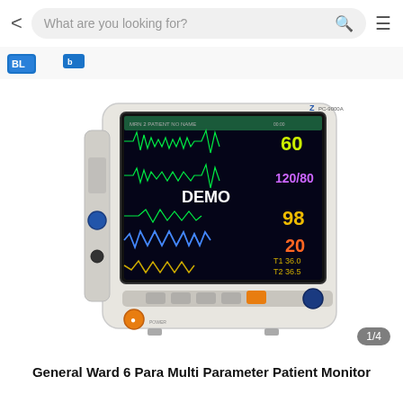What are you looking for?
[Figure (photo): A medical patient monitor (General Ward 6 Para Multi Parameter Patient Monitor) showing a dark screen with ECG traces, SpO2, NIBP (120/80), respiratory rate (20), heart rate (60), temperature readings (36.0, 36.5), and the word DEMO displayed on screen. The device has a cream/white housing with control buttons on the front panel.]
General Ward 6 Para Multi Parameter Patient Monitor